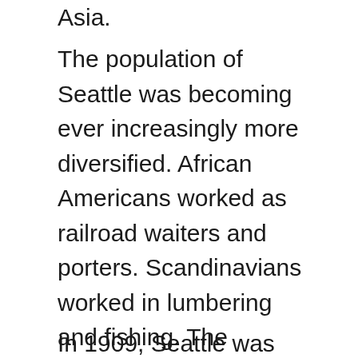Asia.
The population of Seattle was becoming ever increasingly more diversified. African Americans worked as railroad waiters and porters. Scandinavians worked in lumbering and fishing. The Japanese operated hotels and truck gardens. There were a considerable communities of Jews, Filipinos, Chinese, and Italians. The International District was the home of several different Asian ethnic groups.
In 1909, Seattle was the